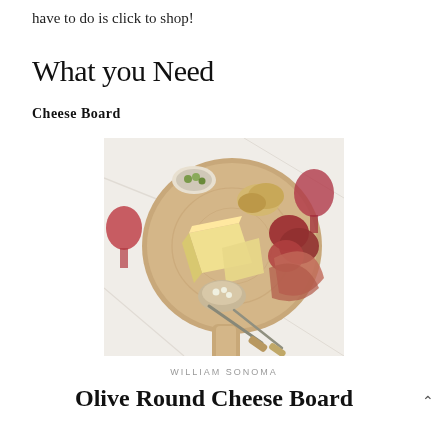have to do is click to shop!
What you Need
Cheese Board
[Figure (photo): Overhead view of a round wooden cheese board with assorted cheeses, cured meats, crackers, olives, and a small bowl of marinated items, with wine glasses and utensils on a white marble surface.]
WILLIAM SONOMA
Olive Round Cheese Board